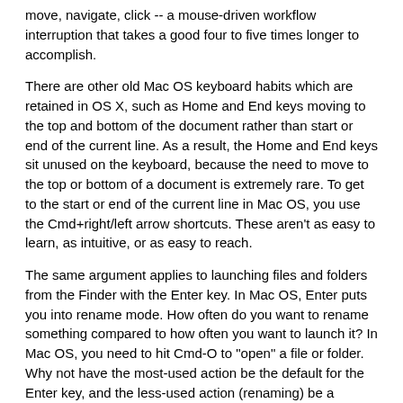move, navigate, click -- a mouse-driven workflow interruption that takes a good four to five times longer to accomplish.
There are other old Mac OS keyboard habits which are retained in OS X, such as Home and End keys moving to the top and bottom of the document rather than start or end of the current line. As a result, the Home and End keys sit unused on the keyboard, because the need to move to the top or bottom of a document is extremely rare. To get to the start or end of the current line in Mac OS, you use the Cmd+right/left arrow shortcuts. These aren't as easy to learn, as intuitive, or as easy to reach.
The same argument applies to launching files and folders from the Finder with the Enter key. In Mac OS, Enter puts you into rename mode. How often do you want to rename something compared to how often you want to launch it? In Mac OS, you need to hit Cmd-O to "open" a file or folder. Why not have the most-used action be the default for the Enter key, and the less-used action (renaming) be a hotkey? (In BeOS, rename is Alt+E).
Yes, I know that muscle memory is worth a lot, but user testing should make it easy to see which tasks are performed most often. Common sense dictates mapping the easiest / most plainly marked keys to those tasks. Or am I missing something?
Workspaces
I'm pretty surprised to see some equivalent of workspaces missing from OS X. In BeOS, you get up to 32 virtual desktops to spread your apps and windows amongst. Each desktop can have a different